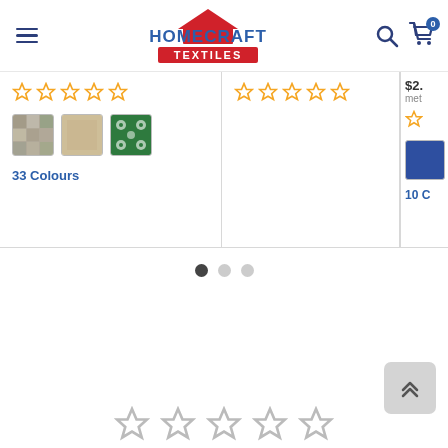[Figure (screenshot): Homecraft Textiles website header with hamburger menu, logo, search icon, and cart icon showing 0 items]
[Figure (screenshot): Product listing card 1: yellow star rating (empty stars), three fabric swatches (mosaic, beige, green floral), and '33 Colours' link]
[Figure (screenshot): Product listing card 2: yellow star rating (empty stars), partially visible]
[Figure (screenshot): Partially visible third product card showing price $2x, 'met' text, star rating, blue fabric swatch, and '10 C' text]
[Figure (screenshot): Carousel navigation dots: one dark active dot and two light inactive dots]
[Figure (screenshot): Back to top button (double chevron up arrow) in bottom right]
[Figure (screenshot): Empty star rating row at the bottom of the page]